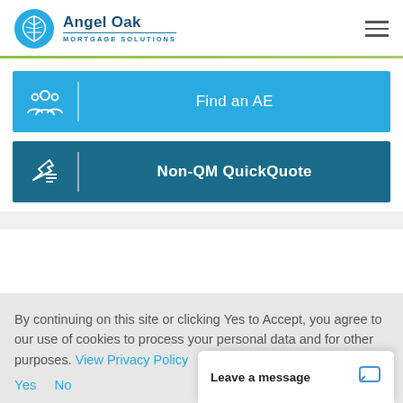[Figure (logo): Angel Oak Mortgage Solutions logo with blue leaf/oak icon and company name]
[Figure (other): Hamburger menu icon (three horizontal lines)]
[Figure (other): Find an AE button with group of people icon]
[Figure (other): Non-QM QuickQuote button with hand/checklist icon]
By continuing on this site or clicking Yes to Accept, you agree to our use of cookies to process your personal data and for other purposes. View Privacy Policy
Yes   No
Leave a message